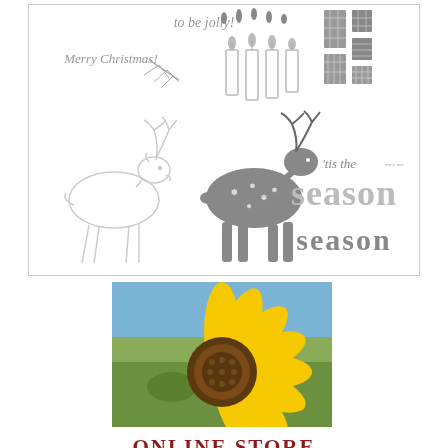[Figure (illustration): Christmas stamp set illustration showing reindeer outlines, decorated reindeer, candles, wrapped gift boxes, holiday text 'to be jolly!', 'Merry Christmas!', ''tis the season', and 'season' in decorative fonts]
[Figure (photo): A close-up photograph of a large sunflower in a field with blue sky in the background]
ONLINE STORE
Shop 24/7
If